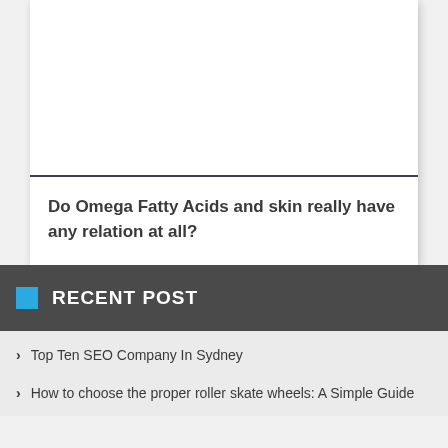[Figure (other): White card area with top blank image region and a horizontal dark line separator]
Do Omega Fatty Acids and skin really have any relation at all?
RECENT POST
Top Ten SEO Company In Sydney
How to choose the proper roller skate wheels: A Simple Guide